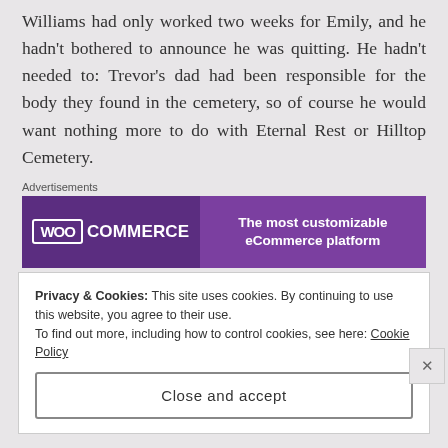Williams had only worked two weeks for Emily, and he hadn't bothered to announce he was quitting. He hadn't needed to: Trevor's dad had been responsible for the body they found in the cemetery, so of course he would want nothing more to do with Eternal Rest or Hilltop Cemetery.
[Figure (other): WooCommerce advertisement banner with purple background showing WooCommerce logo on the left and text 'The most customizable eCommerce platform' on the right.]
Feeling suddenly alone, despite the crowd of people around her, Emily edged her way past everyone to the deck
Privacy & Cookies: This site uses cookies. By continuing to use this website, you agree to their use.
To find out more, including how to control cookies, see here: Cookie Policy
Close and accept